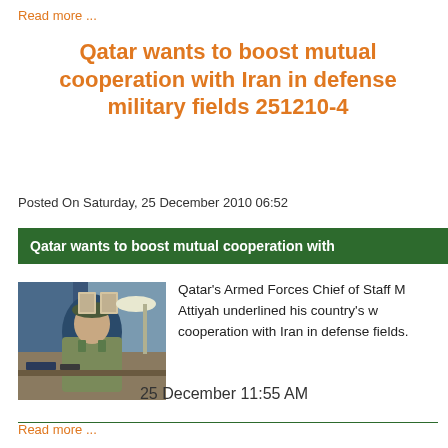Read more ...
Qatar wants to boost mutual cooperation with Iran in defense military fields 251210-4
Posted On Saturday, 25 December 2010 06:52
Qatar wants to boost mutual cooperation with
[Figure (photo): Qatar's Armed Forces Chief of Staff in military uniform seated at a desk]
Qatar's Armed Forces Chief of Staff M Attiyah underlined his country's w cooperation with Iran in defense fields.
25 December 11:55 AM
Read more ...